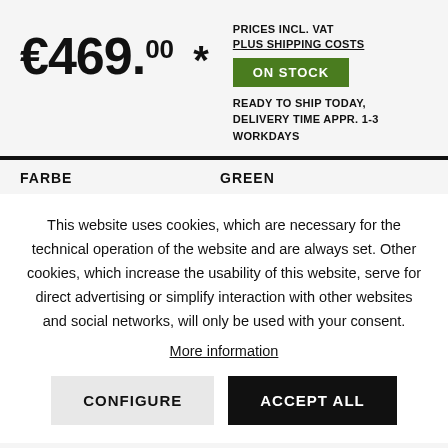PRICES INCL. VAT PLUS SHIPPING COSTS
€469.00 *
ON STOCK
READY TO SHIP TODAY, DELIVERY TIME APPR. 1-3 WORKDAYS
FARBE
GREEN
This website uses cookies, which are necessary for the technical operation of the website and are always set. Other cookies, which increase the usability of this website, serve for direct advertising or simplify interaction with other websites and social networks, will only be used with your consent.
More information
CONFIGURE
ACCEPT ALL